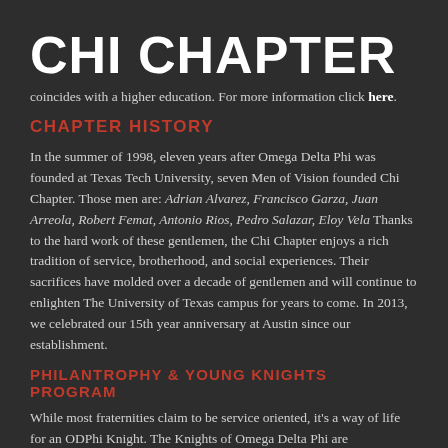CHI CHAPTER
coincides with a higher education. For more information click here.
CHAPTER HISTORY
In the summer of 1998, eleven years after Omega Delta Phi was founded at Texas Tech University, seven Men of Vision founded Chi Chapter. Those men are: Adrian Alvarez, Francisco Garza, Juan Arreola, Robert Femat, Antonio Rios, Pedro Salazar, Eloy Vela Thanks to the hard work of these gentlemen, the Chi Chapter enjoys a rich tradition of service, brotherhood, and social experiences. Their sacrifices have molded over a decade of gentlemen and will continue to enlighten The University of Texas campus for years to come. In 2013, we celebrated our 15th year anniversary at Austin since our establishment.
PHILANTROPHY & YOUNG KNIGHTS PROGRAM
While most fraternities claim to be service oriented, it's a way of life for an ODPhi Knight. The Knights of Omega Delta Phi are